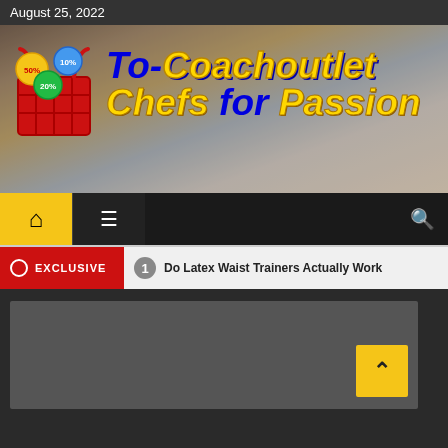August 25, 2022
[Figure (screenshot): Website banner for To-Coachoutlet Chefs for Passion with shopping basket logo showing discount bubbles (50%, 10%, 20%) on a lifestyle photo background]
[Figure (infographic): Navigation bar with home icon (yellow background), hamburger menu, and search icon on dark background]
EXCLUSIVE   1   Do Latex Waist Trainers Actually Work
[Figure (screenshot): Dark gray content area with a back-to-top arrow button (yellow)]